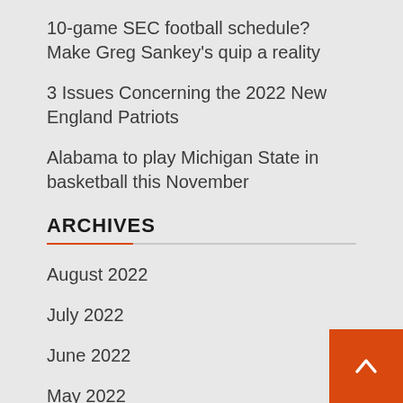10-game SEC football schedule? Make Greg Sankey's quip a reality
3 Issues Concerning the 2022 New England Patriots
Alabama to play Michigan State in basketball this November
ARCHIVES
August 2022
July 2022
June 2022
May 2022
April 2022
March 2022